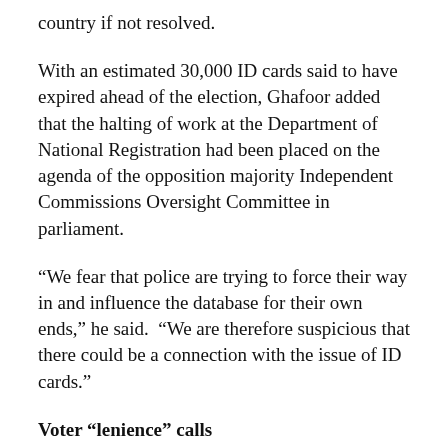country if not resolved.
With an estimated 30,000 ID cards said to have expired ahead of the election, Ghafoor added that the halting of work at the Department of National Registration had been placed on the agenda of the opposition majority Independent Commissions Oversight Committee in parliament.
“We fear that police are trying to force their way in and influence the database for their own ends,” he said.  “We are therefore suspicious that there could be a connection with the issue of ID cards.”
Voter “lenience” calls
The EC meanwhile claimed last week it had rejected calls from the government-aligned Registration Post